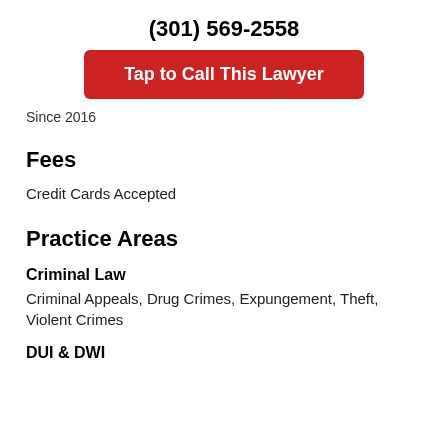(301) 569-2558
Tap to Call This Lawyer
Since 2016
Fees
Credit Cards Accepted
Practice Areas
Criminal Law
Criminal Appeals, Drug Crimes, Expungement, Theft, Violent Crimes
DUI & DWI